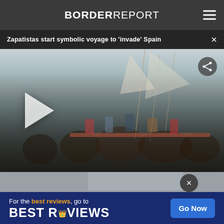BORDER REPORT
Zapatistas start symbolic voyage to 'invade' Spain
[Figure (screenshot): Video screenshot showing a crowd of people gathered around a sailboat at a dock, with sails visible and people taking photos. A semi-transparent play button triangle is visible on the left side of the frame. A share icon is in the upper right.]
For the best reviews, go to BESTREVIEWS
Go Now